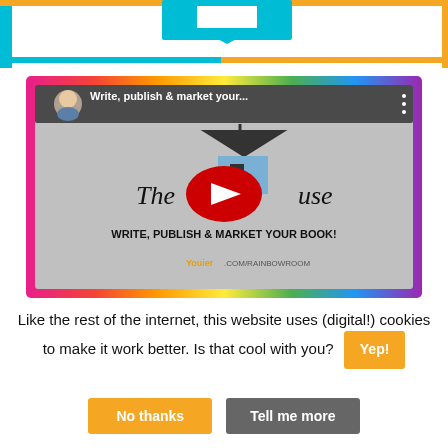[Figure (screenshot): Top portion of a website with cyan and orange border book logo banner, partially cropped at top]
[Figure (screenshot): YouTube video thumbnail for 'Write, publish & market your...' with rainbow border, showing The House logo, WRITE, PUBLISH & MARKET YOUR BOOK! text, Youier.com/rainbowroom, and YouTube play button]
Like the rest of the internet, this website uses (digital!) cookies to make it work better. Is that cool with you?
No thanks
Tell me more